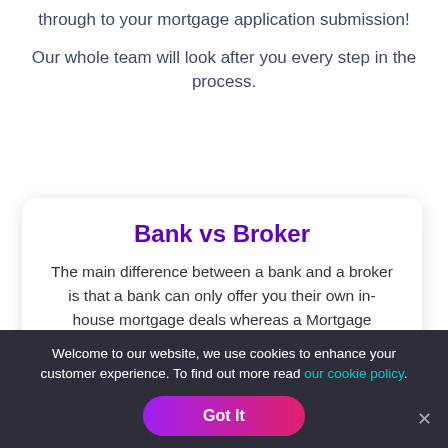We want to help you from the point of enquiry through to your mortgage application submission!
Our whole team will look after you every step in the process.
Bank vs Broker
The main difference between a bank and a broker is that a bank can only offer you their own in-house mortgage deals whereas a Mortgage Broker in Boldmere like us, can access products from our
Welcome to our website, we use cookies to enhance your customer experience. To find out more read our cookie policy.
Got It